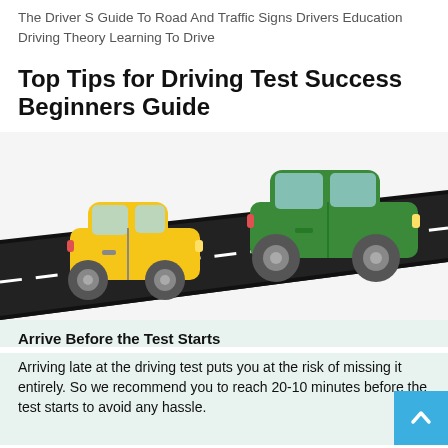The Driver S Guide To Road And Traffic Signs Drivers Education Driving Theory Learning To Drive
Top Tips for Driving Test Success Beginners Guide
[Figure (illustration): Two cars (a yellow hatchback on the left and a green sedan on the right) driving on a road illustrated in a flat cartoon style, with a diagonal black road with white dashed lane markings.]
Arrive Before the Test Starts
Arriving late at the driving test puts you at the risk of missing it entirely. So we recommend you to reach 20-10 minutes before the test starts to avoid any hassle.